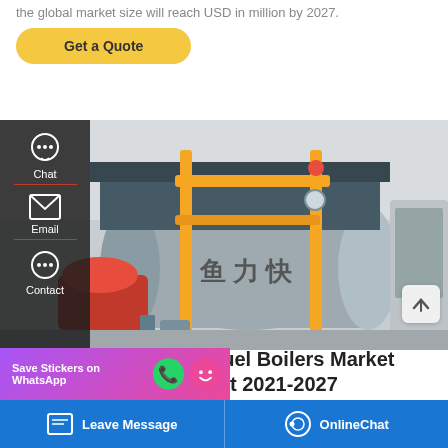the global market size will reach USD in million by 2027.
Get a Quote
[Figure (photo): Industrial fuel boiler equipment with yellow pipes, grey cylindrical boiler body with Chinese text, red burner, and a control panel on the right side.]
Chat
Email
Contact
Save Stickers on WhatsApp
Fuel Boilers Market
ort 2021-2027
Leave Message
OnlineChat